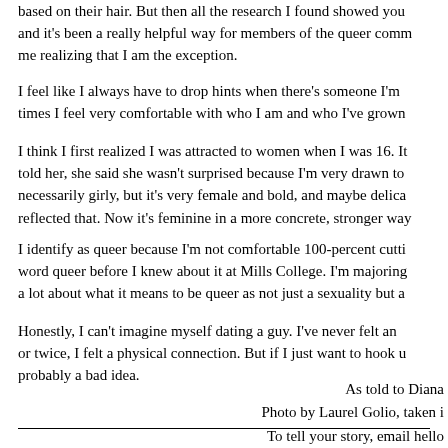based on their hair. But then all the research I found showed you and it's been a really helpful way for members of the queer comm me realizing that I am the exception.
I feel like I always have to drop hints when there's someone I'm times I feel very comfortable with who I am and who I've grown
I think I first realized I was attracted to women when I was 16. It told her, she said she wasn't surprised because I'm very drawn to necessarily girly, but it's very female and bold, and maybe delica reflected that. Now it's feminine in a more concrete, stronger way
I identify as queer because I'm not comfortable 100-percent cutti word queer before I knew about it at Mills College. I'm majoring a lot about what it means to be queer as not just a sexuality but a
Honestly, I can't imagine myself dating a guy. I've never felt an or twice, I felt a physical connection. But if I just want to hook u probably a bad idea.
As told to Diana
Photo by Laurel Golio, taken i
To tell your story, email hello